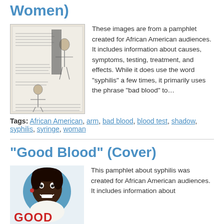Women)
[Figure (illustration): Black and white illustration from a pamphlet showing figures of women, part of a public health pamphlet for African American audiences about syphilis.]
These images are from a pamphlet created for African American audiences. It includes information about causes, symptoms, testing, treatment, and effects. While it does use the word "syphilis" a few times, it primarily uses the phrase "bad blood" to…
Tags: African American, arm, bad blood, blood test, shadow, syphilis, syringe, woman
"Good Blood" (Cover)
[Figure (illustration): Color illustration cover of the 'Good Blood' pamphlet showing an African American woman's face with the word GOOD in red letters, created for African American audiences about syphilis.]
This pamphlet about syphilis was created for African American audiences. It includes information about